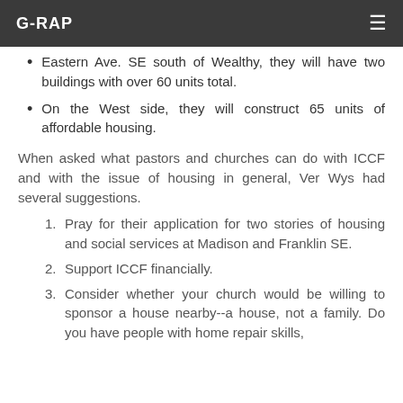G-RAP
Eastern Ave. SE south of Wealthy, they will have two buildings with over 60 units total.
On the West side, they will construct 65 units of affordable housing.
When asked what pastors and churches can do with ICCF and with the issue of housing in general, Ver Wys had several suggestions.
1. Pray for their application for two stories of housing and social services at Madison and Franklin SE.
2. Support ICCF financially.
3. Consider whether your church would be willing to sponsor a house nearby--a house, not a family. Do you have people with home repair skills,